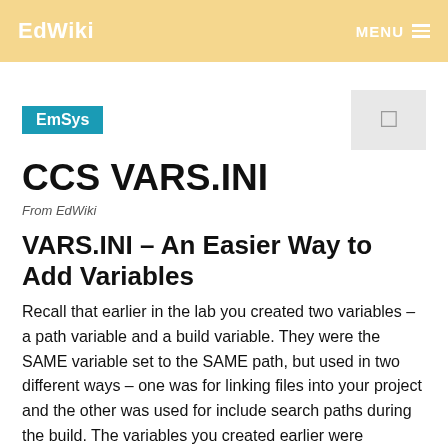EdWiki  MENU
EmSys
CCS VARS.INI
From EdWiki
VARS.INI – An Easier Way to Add Variables
Recall that earlier in the lab you created two variables – a path variable and a build variable. They were the SAME variable set to the SAME path, but used in two different ways – one was for linking files into your project and the other was used for include search paths during the build. The variables you created earlier were available on a project level. So, if you had two projects open in your